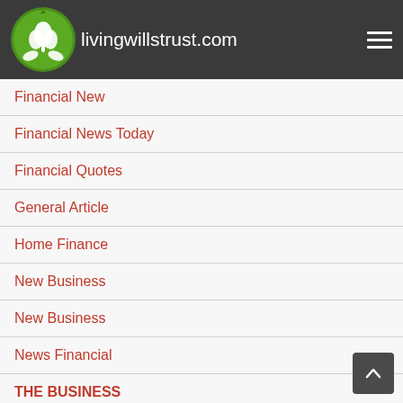livingwillstrust.com
Financial New
Financial News Today
Financial Quotes
General Article
Home Finance
New Business
New Business
News Financial
THE BUSINESS
What Is A Business
World Finance